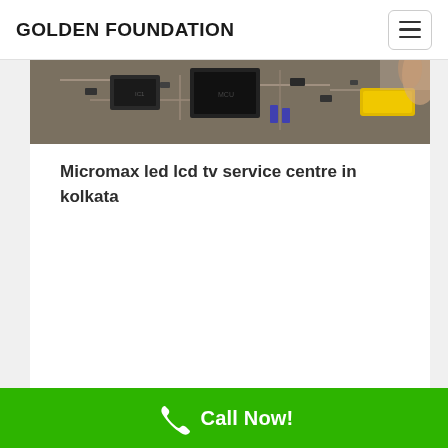GOLDEN FOUNDATION
[Figure (photo): Close-up photo of a circuit board with electronic components, chips, and a yellow tool or component visible.]
Micromax led lcd tv service centre in kolkata
Call Now!